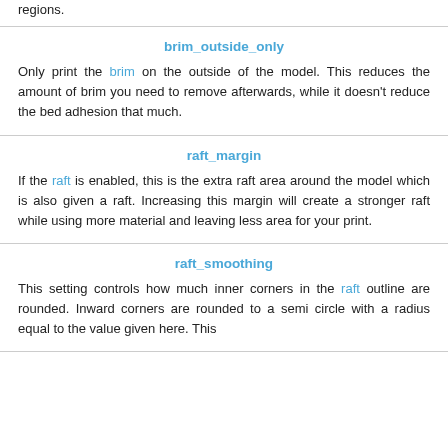regions.
brim_outside_only
Only print the brim on the outside of the model. This reduces the amount of brim you need to remove afterwards, while it doesn't reduce the bed adhesion that much.
raft_margin
If the raft is enabled, this is the extra raft area around the model which is also given a raft. Increasing this margin will create a stronger raft while using more material and leaving less area for your print.
raft_smoothing
This setting controls how much inner corners in the raft outline are rounded. Inward corners are rounded to a semi circle with a radius equal to the value given here. This